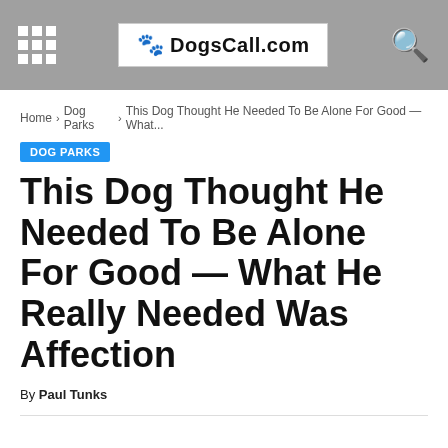DogsCall.com
Home › Dog Parks › This Dog Thought He Needed To Be Alone For Good — What...
DOG PARKS
This Dog Thought He Needed To Be Alone For Good — What He Really Needed Was Affection
By Paul Tunks